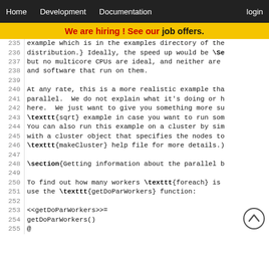Home   Development   Documentation   login
We are hiring ! See our job offers.
235  example which is in the examples directory of the
236  distribution.} Ideally, the speed up would be \Se
237  but no multicore CPUs are ideal, and neither are
238  and software that run on them.
239
240  At any rate, this is a more realistic example tha
241  parallel.  We do not explain what it's doing or h
242  here.  We just want to give you something more su
243  \texttt{sqrt} example in case you want to run som
244  You can also run this example on a cluster by sim
245  with a cluster object that specifies the nodes to
246  \texttt{makeCluster} help file for more details.)
247
248  \section{Getting information about the parallel b
249
250  To find out how many workers \texttt{foreach} is
251  use the \texttt{getDoParWorkers} function:
252
253  <<getDoParWorkers>>=
254  getDoParWorkers()
255  @